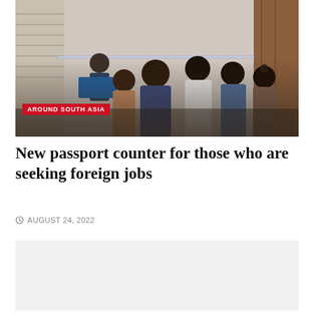[Figure (photo): People crowding at a passport counter office, with a worker visible behind glass. A red category label 'AROUND SOUTH ASIA' overlays the bottom-left of the image.]
New passport counter for those who are seeking foreign jobs
AUGUST 24, 2022
[Figure (other): Advertisement or placeholder box with grey background]